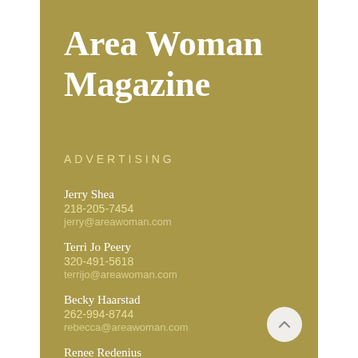Area Woman Magazine
ADVERTISING
Jerry Shea
218-205-7454
jerry@areawoman.com
Terri Jo Peery
320-491-5618
terrijo@areawoman.com
Becky Haarstad
262-994-8744
rebecca@areawoman.com
Renee Redenius
701-212-7227